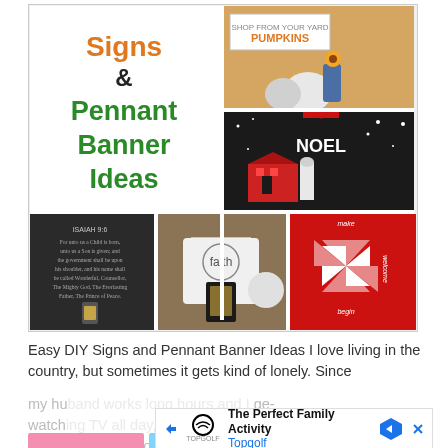[Figure (photo): Collage of DIY signs and pennant banner craft ideas. Top-left shows orange and green text reading 'Signs & Pennant Banner Ideas'. Top-right shows two stacked photos: a Pumpkins sign and a Noel barnyard hanging sign. Bottom row shows three photos: a scripture sign, a faith pennant banner, and a red/white quilt-pattern sign.]
Easy DIY Signs and Pennant Banner Ideas I love living in the country, but sometimes it gets kind of lonely. Since my hu... ge-watch... to do something more constructive.
[Figure (screenshot): Advertisement banner: The Perfect Family Activity - Topgolf]